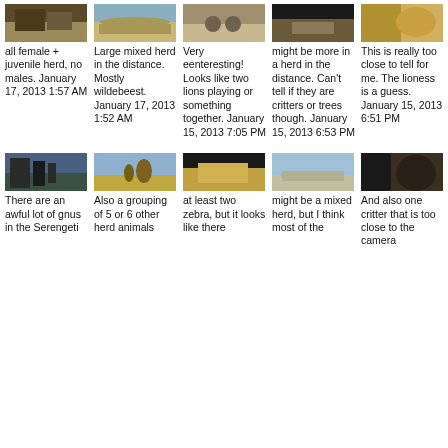[Figure (photo): Wildlife photo - female/juvenile herd]
all female + juvenile herd, no males. January 17, 2013 1:57 AM
[Figure (photo): Wildlife photo - large mixed herd in distance]
Large mixed herd in the distance. Mostly wildebeest. January 17, 2013 1:52 AM
[Figure (photo): Wildlife photo - two lions playing]
Very eenteresting! Looks like two lions playing or something together. January 15, 2013 7:05 PM
[Figure (photo): Wildlife photo - herd in distance]
might be more in a herd in the distance. Can't tell if they are critters or trees though. January 15, 2013 6:53 PM
[Figure (photo): Wildlife photo - lioness close up]
This is really too close to tell for me. The lioness is a guess. January 15, 2013 6:51 PM
[Figure (photo): Wildlife photo - gnus in Serengeti]
There are an awful lot of gnus in the Serengeti
[Figure (photo): Wildlife photo - grouping of animals]
Also a grouping of 5 or 6 other herd animals
[Figure (photo): Wildlife photo - zebra]
at least two zebra, but it looks like there
[Figure (photo): Wildlife photo - mixed herd]
might be a mixed herd, but I think most of the
[Figure (photo): Wildlife photo - animal too close to camera]
And also one critter that is too close to the camera